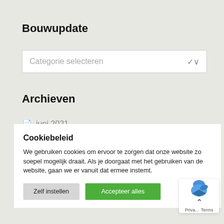Bouwupdate
Categorie selecteren
Archieven
juni 2021
Cookiebeleid
We gebruiken cookies om ervoor te zorgen dat onze website zo soepel mogelijk draait. Als je doorgaat met het gebruiken van de website, gaan we er vanuit dat ermee instemt.
Zelf instellen
Accepteer alles
[Figure (logo): Google reCAPTCHA badge with blue bird icon, chevron up arrow, and Privacy/Terms links]